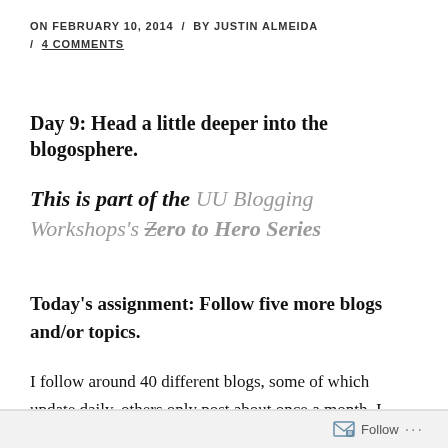ON FEBRUARY 10, 2014 / BY JUSTIN ALMEIDA / 4 COMMENTS
Day 9: Head a little deeper into the blogosphere.
This is part of the UU Blogging Workshops's Zero to Hero Series
Today's assignment: Follow five more blogs and/or topics.
I follow around 40 different blogs, some of which update daily, others only post about once a month. I organize them in Feedly based on category; so I'll share
Follow ...